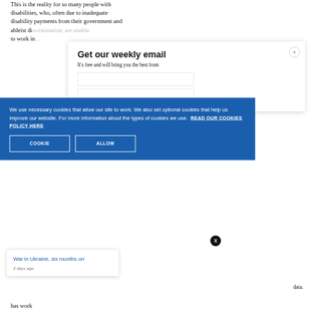This is the reality for so many people with disabilities, who, often due to inadequate disability payments from their government and ableist di… to work in…
Get our weekly email
It's free and will bring you the best from
We use necessary cookies that allow our site to work. We also set optional cookies that help us improve our website. For more information about the types of cookies we use. READ OUR COOKIES POLICY HERE
COOKIE
ALLOW
S
data.
War in Ukraine, six months on
2 days ago
has work